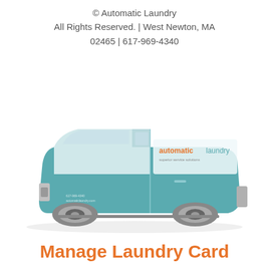© Automatic Laundry
All Rights Reserved. | West Newton, MA
02465 | 617-969-4340
[Figure (photo): A teal and silver Automatic Laundry service van with the 'automatic laundry superior service solutions' logo on the side panel, viewed from the side against a white background.]
Manage Laundry Card